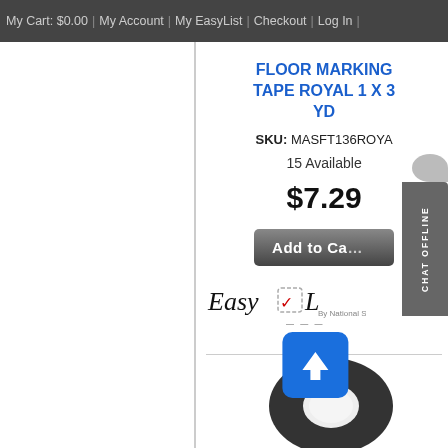My Cart: $0.00 | My Account | My EasyList | Checkout | Log In |
FLOOR MARKING TAPE ROYAL 1 X 3 YD
SKU: MASFT136ROYA
15 Available
$7.29
Add to Ca...
[Figure (screenshot): EasyList logo with cursive text and checkbox icon, by National S...]
[Figure (photo): Roll of dark grey/black floor marking tape viewed from above, partially visible at bottom right]
[Figure (other): CHAT OFFLINE sidebar widget on the right edge]
[Figure (other): Blue button with upward arrow icon]